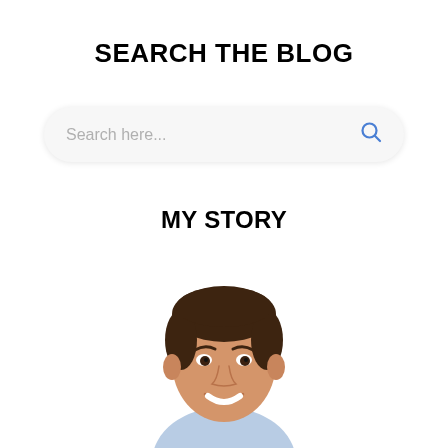SEARCH THE BLOG
[Figure (other): Search bar with placeholder text 'Search here...' and a blue magnifying glass icon on the right, styled with rounded corners and light gray background]
MY STORY
[Figure (photo): Headshot photo of a smiling man with dark brown hair wearing a light blue shirt, cropped at the shoulders]